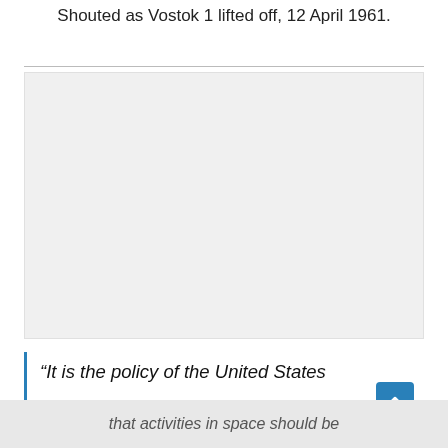Shouted as Vostok 1 lifted off, 12 April 1961.
[Figure (photo): A large light gray rectangular image placeholder, likely a photograph related to Vostok 1 launch or Yuri Gagarin.]
“It is the policy of the United States that activities in space should be
that activities in space should be